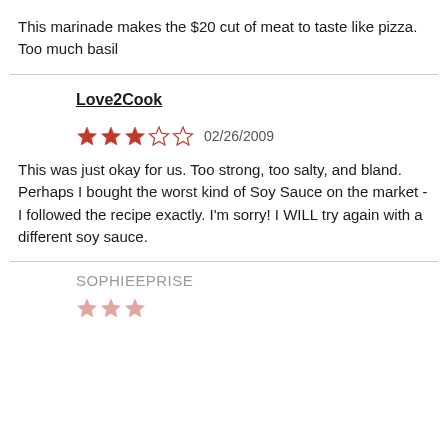This marinade makes the $20 cut of meat to taste like pizza. Too much basil
Love2Cook
02/26/2009
This was just okay for us. Too strong, too salty, and bland. Perhaps I bought the worst kind of Soy Sauce on the market - I followed the recipe exactly. I'm sorry! I WILL try again with a different soy sauce.
SOPHIEEPRISE